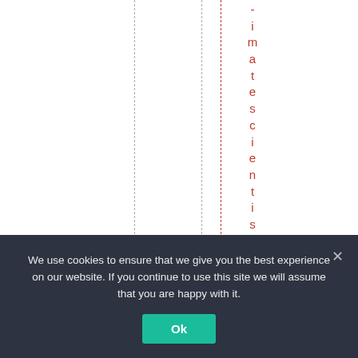-imatescientist,* s
We use cookies to ensure that we give you the best experience on our website. If you continue to use this site we will assume that you are happy with it.